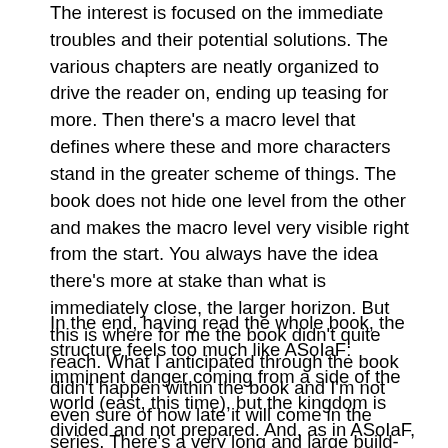The interest is focused on the immediate troubles and their potential solutions. The various chapters are neatly organized to drive the reader on, ending up teasing for more. Then there's a macro level that defines where these and more characters stand in the greater scheme of things. The book does not hide one level from the other and makes the macro level very visible right from the start. You always have the idea there's more at stake than what is immediately close, the larger horizon. But this is where for me the book didn't quite reach. What I anticipated through the book didn't happen within the book and I'm not even sure of how late it will come in the series. There's a very long and large build-up, both macro and micro. The micro works (with reservations I'll explain), but the macro is entirely undelivered.
In the end, having read the whole book, the structure feels too much like ASoIaF: imminent danger coming from a side of the world (east, this time), but the kingdom is divided and not prepared. And, as in ASoIaF, this is the situation at the